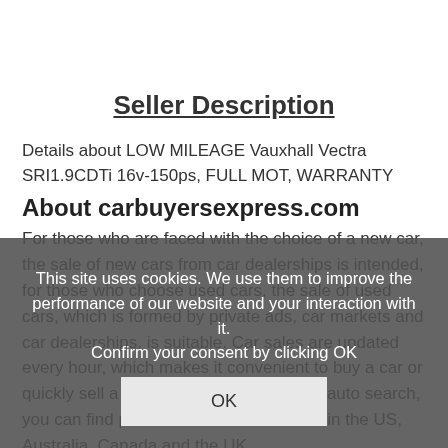Seller Description
Details about LOW MILEAGE Vauxhall Vectra SRI1.9CDTi 16v-150ps, FULL MOT, WARRANTY
About carbuyersexpress.com
For those who are faced with the choice of a new car, the sale of new cars from car dealerships is intended, for those who choose used cars, the sale of used cars, which is formed by private ads, car markets and car dealerships, is suitable. Car sales are updated every hour, which makes it convenient to buy a car or quickly sell a car. Via basic or advanced auto search, you can find prices for new or used cars in the US, Australia, Canada and the UK.
Visitors are also looking
This site uses cookies. We use them to improve the performance of our website and your interaction with it.
Confirm your consent by clicking OK